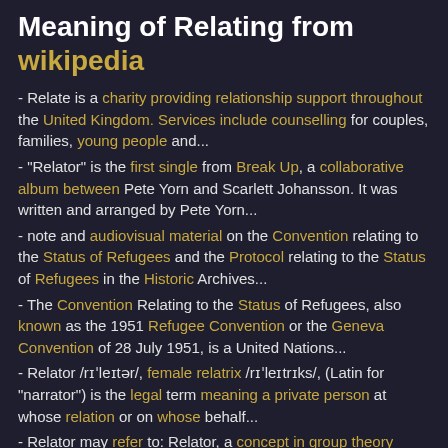Meaning of Relating from wikipedia
- Relate is a charity providing relationship support throughout the United Kingdom. Services include counselling for couples, families, young people and...
- "Relator" is the first single from Break Up, a collaborative album between Pete Yorn and Scarlett Johansson. It was written and arranged by Pete Yorn...
- note and audiovisual material on the Convention relating to the Status of Refugees and the Protocol relating to the Status of Refugees in the Historic Archives...
- The Convention Relating to the Status of Refugees, also known as the 1951 Refugee Convention or the Geneva Convention of 28 July 1951, is a United Nations...
- Relator /rɪˈleɪtər/, female relatrix /rɪˈleɪtrɪks/, (Latin for "narrator") is the legal term meaning a private person at whose relation or on whose behalf...
- Relator may refer to: Relator, a concept in group theory Relator (law) "Relator" (song) This disambiguation page lists articles ***tociated with the title.